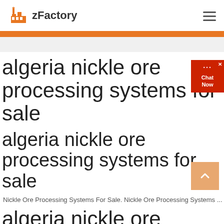zFactory
algeria nickle ore processing systems for sale
algeria nickle ore processing systems for sale
Nickle Ore Processing Systems For Sale. Nickle Ore Processing Systems ...
algeria nickle ore processing